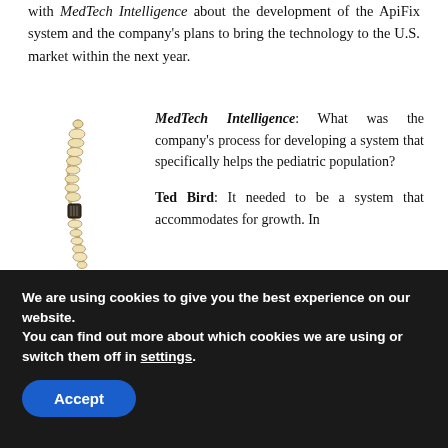with MedTech Intelligence about the development of the ApiFix system and the company's plans to bring the technology to the U.S. market within the next year.
[Figure (photo): A scoliosis spinal implant device — a curved rod with bead-like components, resembling a spine, shown vertically.]
MedTech Intelligence: What was the company's process for developing a system that specifically helps the pediatric population?
Ted Bird: It needed to be a system that accommodates for growth. In
We are using cookies to give you the best experience on our website.
You can find out more about which cookies we are using or switch them off in settings.
Accept